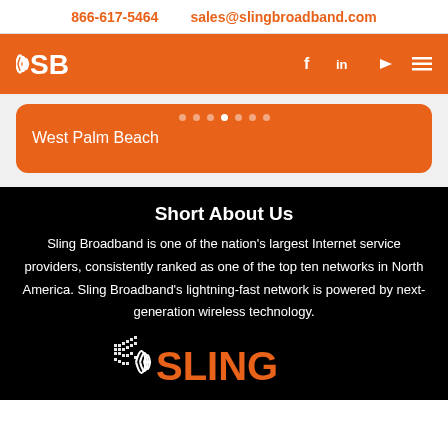866-617-5464    sales@slingbroadband.com
[Figure (logo): Sling Broadband SB logo on orange navbar with social media icons (Facebook, LinkedIn, YouTube, hamburger menu)]
West Palm Beach
Short About Us
Sling Broadband is one of the nation’s largest Internet service providers, consistently ranked as one of the top ten networks in North America. Sling Broadband’s lightning-fast network is powered by next-generation wireless technology.
[Figure (logo): Sling Broadband logo with dot-matrix icon, signal waves, and orange SLING text on black background]